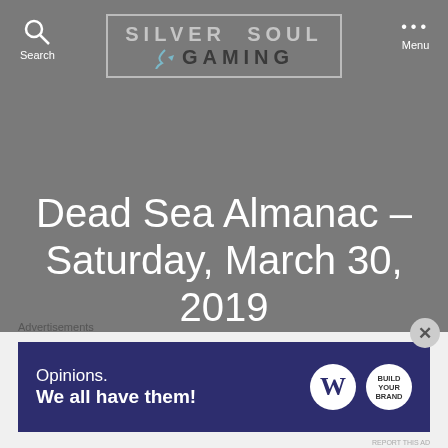Silver Soul Gaming
Dead Sea Almanac – Saturday, March 30, 2019
By silversoulgaming   March 30, 2019   No Comments
Advertisements
[Figure (screenshot): WordPress.com advertisement banner reading 'Opinions. We all have them!' with WordPress and an additional logo]